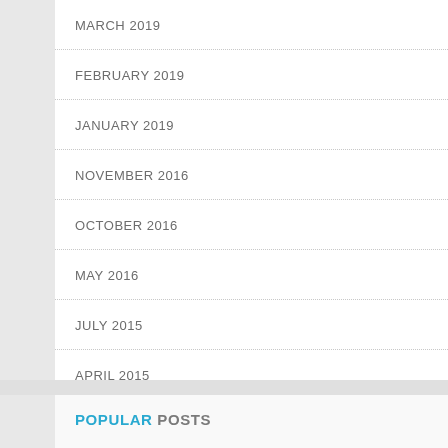MARCH 2019
FEBRUARY 2019
JANUARY 2019
NOVEMBER 2016
OCTOBER 2016
MAY 2016
JULY 2015
APRIL 2015
POPULAR POSTS